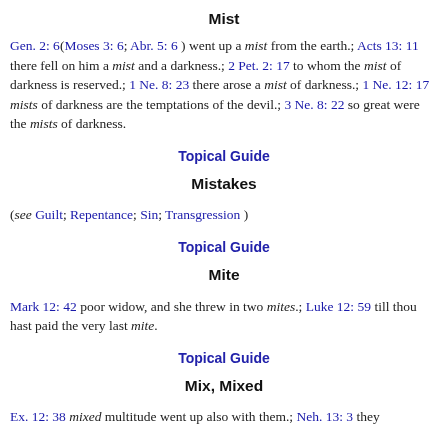Mist
Gen. 2: 6(Moses 3: 6; Abr. 5: 6 ) went up a mist from the earth.; Acts 13: 11 there fell on him a mist and a darkness.; 2 Pet. 2: 17 to whom the mist of darkness is reserved.; 1 Ne. 8: 23 there arose a mist of darkness.; 1 Ne. 12: 17 mists of darkness are the temptations of the devil.; 3 Ne. 8: 22 so great were the mists of darkness.
Topical Guide
Mistakes
(see Guilt; Repentance; Sin; Transgression )
Topical Guide
Mite
Mark 12: 42 poor widow, and she threw in two mites.; Luke 12: 59 till thou hast paid the very last mite.
Topical Guide
Mix, Mixed
Ex. 12: 38 mixed multitude went up also with them.; Neh. 13: 3 they